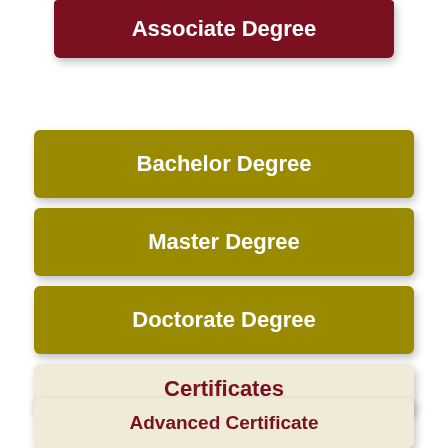[Figure (infographic): Stacked horizontal badge/ribbon infographic showing academic degree levels: Associate Degree (dark red), Bachelor Degree (olive/gold), Master Degree (olive/gold), Doctorate Degree (olive/gold), Certificates (cream), Advanced Certificate (cream)]